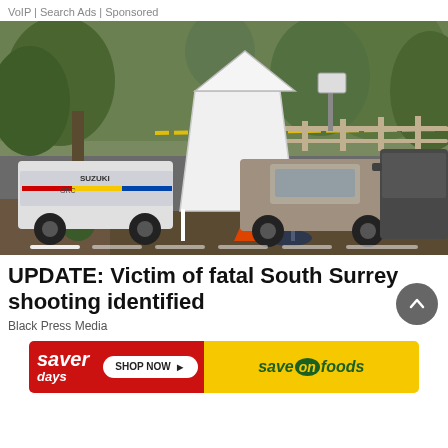VoIP | Search Ads | Sponsored
[Figure (photo): Crime scene photo showing a white forensic tent on a street, with RCMP police vehicles, a pickup truck, and a black van. Yellow police tape is visible, along with orange traffic cone. Police are responding to a shooting in South Surrey, BC.]
UPDATE: Victim of fatal South Surrey shooting identified
Black Press Media
[Figure (infographic): Saver days advertisement banner for Save-On Foods with red background, Shop Now button, and yellow Save-On Foods logo section]